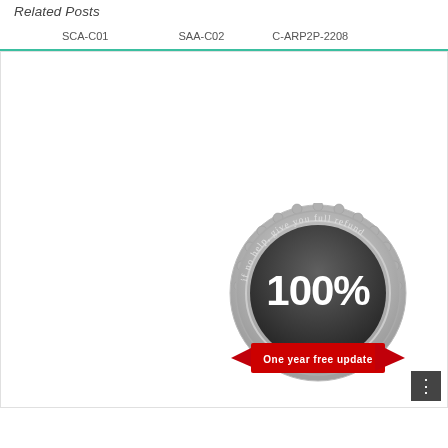Related Posts
⬜⬜⬜⬜SCA-C01⬜⬜	SAA-C02⬜⬜	C-ARP2P-2208⬜⬜⬜⬜
[Figure (illustration): A circular badge/seal with metallic silver border with text 'if no help, give you full refund' around the edge, '100%' in large text in the center dark circle, and a red ribbon banner at the bottom reading 'One year free update']